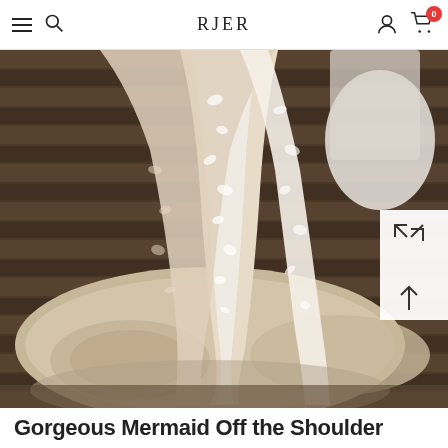RJER — navigation header with menu, search, account, and cart (0 items)
[Figure (photo): A lace wedding dress train spread out on a round satin cushion on a wooden floor, showing intricate floral lace detailing in ivory and white. Other gown bags are visible in the background.]
Gorgeous Mermaid Off the Shoulder